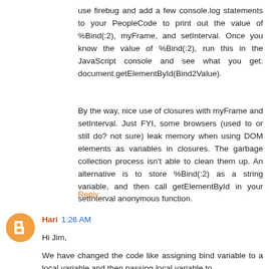use firebug and add a few console.log statements to your PeopleCode to print out the value of %Bind(:2), myFrame, and setInterval. Once you know the value of %Bind(:2), run this in the JavaScript console and see what you get: document.getElementById(Bind2Value).
By the way, nice use of closures with myFrame and setInterval. Just FYI, some browsers (used to or still do? not sure) leak memory when using DOM elements as variables in closures. The garbage collection process isn't able to clean them up. An alternative is to store %Bind(:2) as a string variable, and then call getElementById in your setInterval anonymous function.
Reply
Hari 1:26 AM
Hi Jim,
We have changed the code like assigning bind variable to a local variable and then passing local variable to